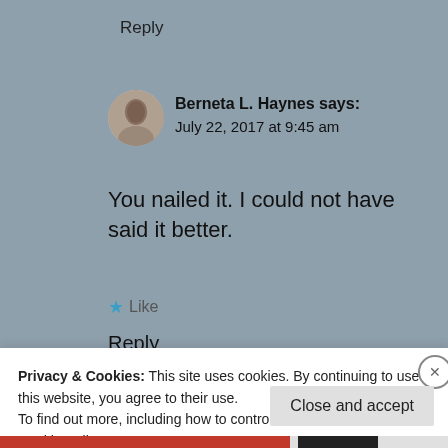Reply
Berneta L. Haynes says:
July 22, 2017 at 9:45 am
You nailed it. I could not have said it better.
★ Like
Reply
Privacy & Cookies: This site uses cookies. By continuing to use this website, you agree to their use.
To find out more, including how to control cookies, see here: Cookie Policy
Close and accept